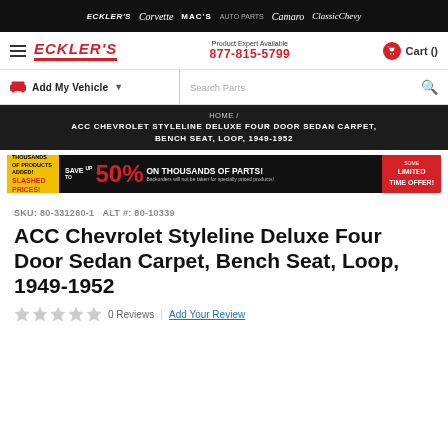ECKLER'S | Corvette | MAC'S AUTO PARTS | Camaro | ClassicChevy
[Figure (logo): Eckler's navigation bar with logo, phone number 877-815-5799, and cart]
[Figure (screenshot): Add My Vehicle and Search Parts bar]
HOME / ACC CHEVROLET STYLELINE DELUXE FOUR DOOR SEDAN CARPET, BENCH SEAT, LOOP, 1949-1952
[Figure (infographic): Promotional banner: SAVE up to 50% ON THOUSANDS OF PARTS! LIMITED TIME OFFER!]
SKU: 80-331260-1   ALT #: 80-10339
ACC Chevrolet Styleline Deluxe Four Door Sedan Carpet, Bench Seat, Loop, 1949-1952
0 Reviews | Add Your Review